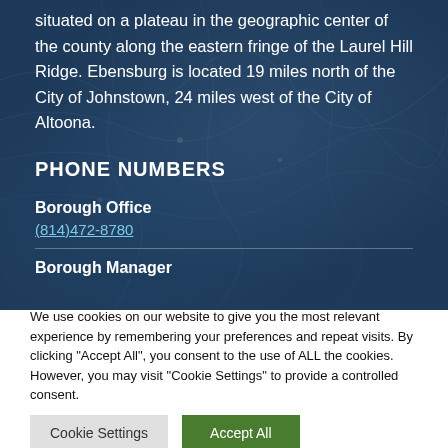situated on a plateau in the geographic center of the county along the eastern fringe of the Laurel Hill Ridge. Ebensburg is located 19 miles north of the City of Johnstown, 24 miles west of the City of Altoona.
PHONE NUMBERS
Borough Office
(814)472-8780
Borough Manager
We use cookies on our website to give you the most relevant experience by remembering your preferences and repeat visits. By clicking “Accept All”, you consent to the use of ALL the cookies. However, you may visit "Cookie Settings" to provide a controlled consent.